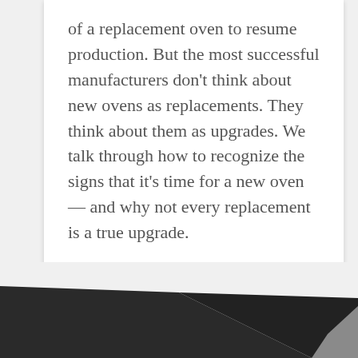of a replacement oven to resume production. But the most successful manufacturers don't think about new ovens as replacements. They think about them as upgrades. We talk through how to recognize the signs that it's time for a new oven — and why not every replacement is a true upgrade.
read more
[Figure (illustration): Dark angular chevron/arrow shape pointing downward at the bottom of the page, dark charcoal/black color with a light grey highlight on the right fold edge, set against a light grey background.]